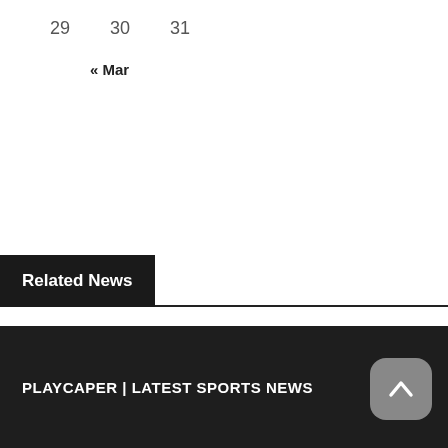29   30   31
« Mar
Related News
PLAYCAPER | LATEST SPORTS NEWS